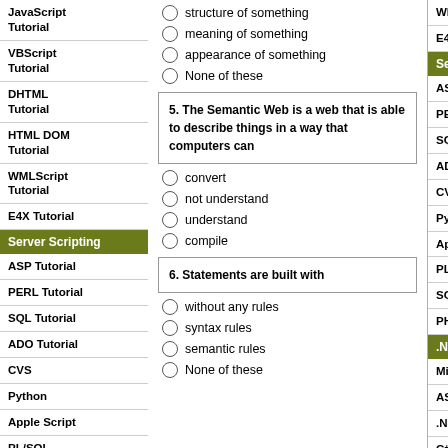JavaScript Tutorial
VBScript Tutorial
DHTML Tutorial
HTML DOM Tutorial
WMLScript Tutorial
E4X Tutorial
Server Scripting
ASP Tutorial
PERL Tutorial
SQL Tutorial
ADO Tutorial
CVS
Python
Apple Script
PL/SQL Tutorial
SQL Server
PHP
structure of something
meaning of something
appearance of something
None of these
5. The Semantic Web is a web that is able to describe things in a way that computers can
convert
not understand
understand
compile
6. Statements are built with
without any rules
syntax rules
semantic rules
None of these
WMLScript Quiz
E4X Quiz
Server Scripting Qui...
ASP Quiz
PERL Quiz
SQL Quiz
ADO Quiz
CVS Quiz
Python Quiz
Apple Script Quiz
PL/SQL Quiz
SQL Server Quiz
PHP Quiz
.NET (dotnet) Quize...
Microsoft.Net Quiz
ASP.Net Quiz
.Net Mobile Quiz
C# : C Sharp Quiz
ADO.NET Quiz
VB.NET Quiz